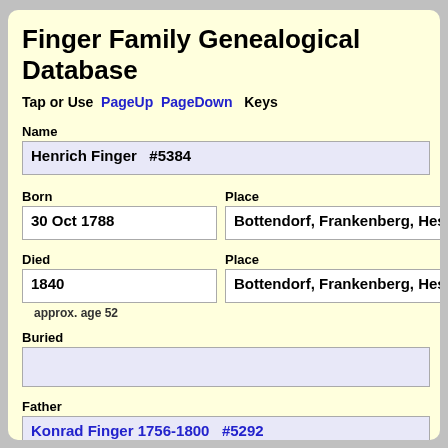Finger Family Genealogical Database
Tap or Use  PageUp  PageDown  Keys
Name
Henrich Finger   #5384
Born
30 Oct 1788
Place
Bottendorf, Frankenberg, Hessen, Germ
Died
1840
Place
Bottendorf, Frankenberg, Hessen, Germ
approx. age 52
Buried
Father
Konrad Finger 1756-1800   #5292
Spouse